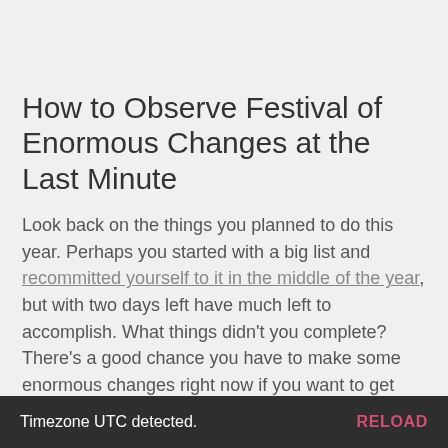How to Observe Festival of Enormous Changes at the Last Minute
Look back on the things you planned to do this year. Perhaps you started with a big list and recommitted yourself to it in the middle of the year, but with two days left have much left to accomplish. What things didn't you complete? There’s a good chance you have to make some enormous changes right now if you want to get them done by the end of the year. You better get to them now—there is no time to waste!
Timezone UTC detected.    RELOAD